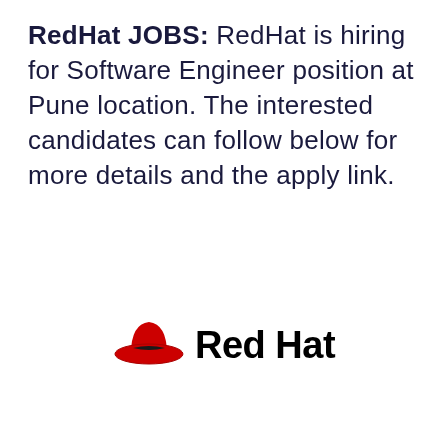RedHat JOBS: RedHat is hiring for Software Engineer position at Pune location. The interested candidates can follow below for more details and the apply link.
[Figure (logo): Red Hat logo: a red fedora hat icon on the left and bold black text 'Red Hat' on the right]